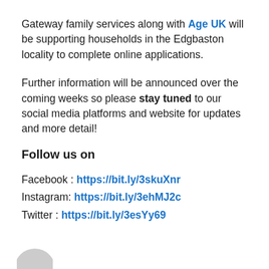Gateway family services along with Age UK will be supporting households in the Edgbaston locality to complete online applications.
Further information will be announced over the coming weeks so please stay tuned to our social media platforms and website for updates and more detail!
Follow us on
Facebook : https://bit.ly/3skuXnr
Instagram: https://bit.ly/3ehMJ2c
Twitter : https://bit.ly/3esYy69